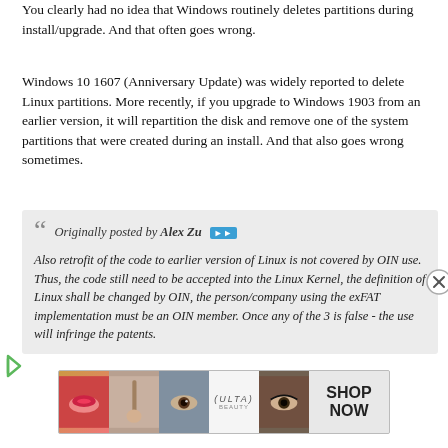You clearly had no idea that Windows routinely deletes partitions during install/upgrade. And that often goes wrong.
Windows 10 1607 (Anniversary Update) was widely reported to delete Linux partitions. More recently, if you upgrade to Windows 1903 from an earlier version, it will repartition the disk and remove one of the system partitions that were created during an install. And that also goes wrong sometimes.
Originally posted by Alex Zu
Also retrofit of the code to earlier version of Linux is not covered by OIN use. Thus, the code still need to be accepted into the Linux Kernel, the definition of Linux shall be changed by OIN, the person/company using the exFAT implementation must be an OIN member. Once any of the 3 is false - the use will infringe the patents.
[Figure (other): ULTA beauty advertisement banner with makeup imagery and SHOP NOW call to action]